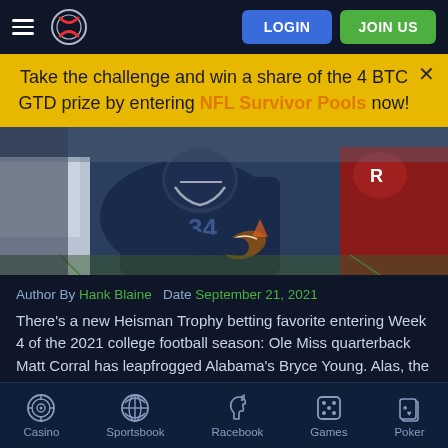Navigation header with hamburger menu, logo, LOGIN and JOIN US buttons
Take the challenge and win a share of the 4 BTC GTD prize by entering NFL Survivor Pools now!
[Figure (photo): American football player number 34 in dark blue jersey diving forward with the ball during a game, tackled by a red-jersey defender]
Author By Hank Blaine   Date September 21, 2021
There's a new Heisman Trophy betting favorite entering Week 4 of the 2021 college football season: Ole Miss quarterback Matt Corral has leapfrogged Alabama's Bryce Young. Alas, the
Casino  Sportsbook  Racebook  Games  Poker